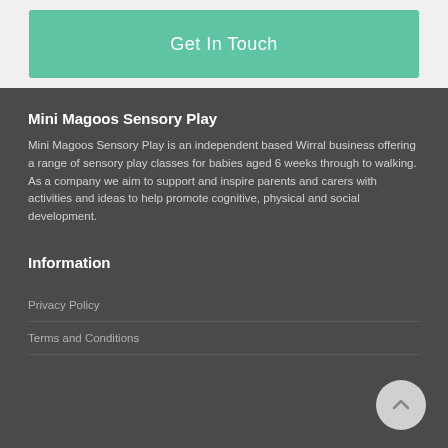Get In Touch
Mini Magoos Sensory Play
Mini Magoos Sensory Play is an independent based Wirral business offering a range of sensory play classes for babies aged 6 weeks through to walking.
As a company we aim to support and inspire parents and carers with activities and ideas to help promote cognitive, physical and social development.
Information
Privacy Policy
Terms and Conditions